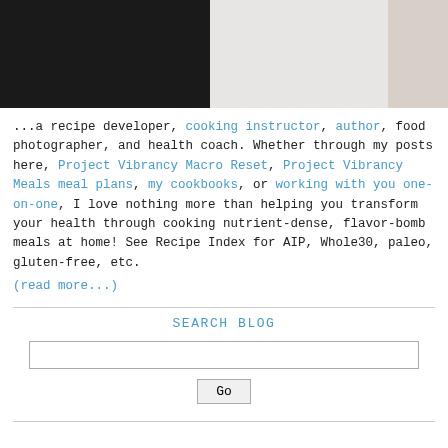[Figure (photo): Partial photo of a person in a black outfit against a light background, with a hand visible at upper right.]
...a recipe developer, cooking instructor, author, food photographer, and health coach. Whether through my posts here, Project Vibrancy Macro Reset, Project Vibrancy Meals meal plans, my cookbooks, or working with you one-on-one, I love nothing more than helping you transform your health through cooking nutrient-dense, flavor-bomb meals at home! See Recipe Index for AIP, Whole30, paleo, gluten-free, etc.
(read more...)
SEARCH BLOG